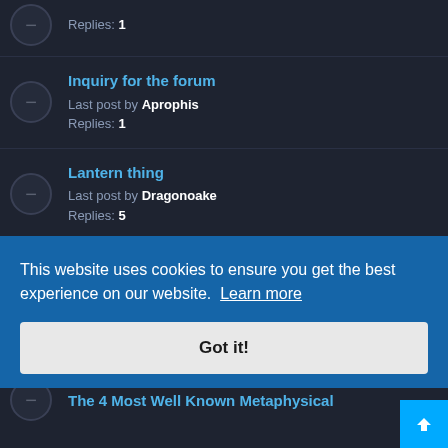Replies: 1
Inquiry for the forum
Last post by Aprophis
Replies: 1
Lantern thing
Last post by Dragonoake
Replies: 5
What is this strange feeling in my fingers and what does it mean?
Last post by User4863
Replies: 46
Dead Birds
Last post by ...
Replies: 6
The 4 Most Well Known Metaphysical
This website uses cookies to ensure you get the best experience on our website. Learn more
Got it!